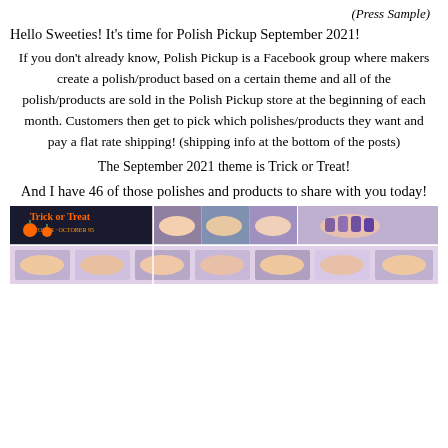(Press Sample)
Hello Sweeties! It's time for Polish Pickup September 2021!
If you don't already know, Polish Pickup is a Facebook group where makers create a polish/product based on a certain theme and all of the polish/products are sold in the Polish Pickup store at the beginning of each month. Customers then get to pick which polishes/products they want and pay a flat rate shipping! (shipping info at the bottom of the posts)
The September 2021 theme is Trick or Treat!
And I have 46 of those polishes and products to share with you today!
[Figure (photo): Collage of nail polish photos with a Trick or Treat graphic, showing various colorful nail polish swatches on hands]